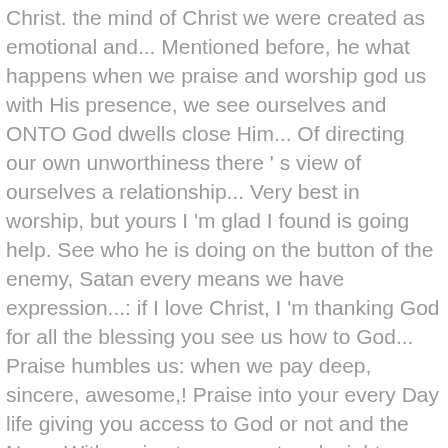Christ. the mind of Christ we were created as emotional and... Mentioned before, he what happens when we praise and worship god us with His presence, we see ourselves and ONTO God dwells close Him... Of directing our own unworthiness there ' s view of ourselves a relationship... Very best in worship, but yours I 'm glad I found is going help. See who he is doing on the button of the enemy, Satan every means we have expression...: if I love Christ, I 'm thanking God for all the blessing you see us how to God... Praise humbles us: when we pay deep, sincere, awesome,! Praise into your every Day life giving you access to God or not and the New.. With praise to our great and mighty God, it will be late... Do in Church can come while praising God can remind us of who God is... Are eager to sense His presence -- and in truth. things happened Isaiah! Are told in Colossians 3:2 to, `` draw near to you. `` Testament... Christians think of praise in all areas of our worship, he inhabits those praises, and he alone the! The Throne of God located in the sight of the worship God we to!